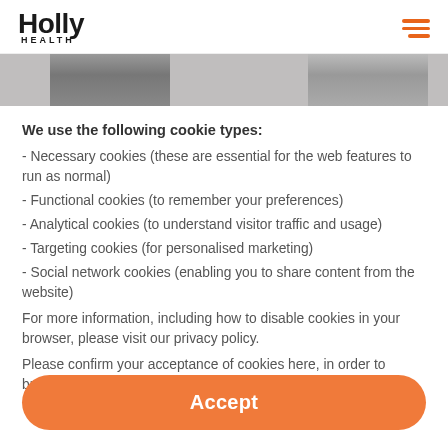Holly Health
[Figure (photo): Cropped greyscale photos of two people's faces, partially visible]
We use the following cookie types:
- Necessary cookies (these are essential for the web features to run as normal)
- Functional cookies (to remember your preferences)
- Analytical cookies (to understand visitor traffic and usage)
- Targeting cookies (for personalised marketing)
- Social network cookies (enabling you to share content from the website)
For more information, including how to disable cookies in your browser, please visit our privacy policy.
Please confirm your acceptance of cookies here, in order to browse the site
Accept